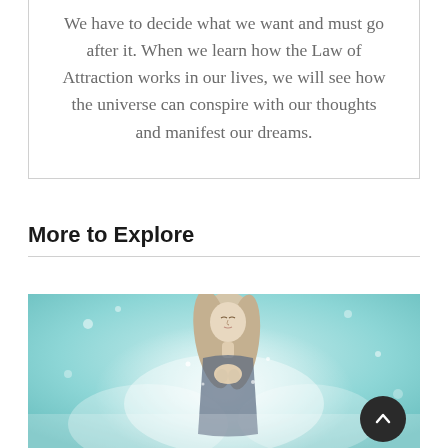We have to decide what we want and must go after it. When we learn how the Law of Attraction works in our lives, we will see how the universe can conspire with our thoughts and manifest our dreams.
More to Explore
[Figure (photo): A dreamy photo of a blonde woman with eyes closed, hands clasped, surrounded by soft teal/aqua misty clouds and bokeh light effects.]